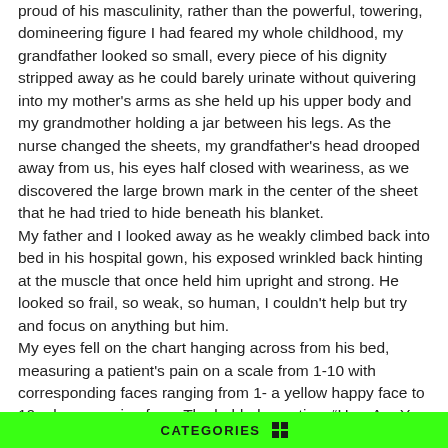proud of his masculinity, rather than the powerful, towering, domineering figure I had feared my whole childhood, my grandfather looked so small, every piece of his dignity stripped away as he could barely urinate without quivering into my mother's arms as she held up his upper body and my grandmother holding a jar between his legs. As the nurse changed the sheets, my grandfather's head drooped away from us, his eyes half closed with weariness, as we discovered the large brown mark in the center of the sheet that he had tried to hide beneath his blanket.

My father and I looked away as he weakly climbed back into bed in his hospital gown, his exposed wrinkled back hinting at the muscle that once held him upright and strong. He looked so frail, so weak, so human, I couldn't help but try and focus on anything but him.

My eyes fell on the chart hanging across from his bed, measuring a patient's pain on a scale from 1-10 with corresponding faces ranging from 1- a yellow happy face to 10-a brown crying face. The bolded question, "How Are You Feeling Today?" seemed to mock me. I'm feeling alone today, I
CATEGORIES